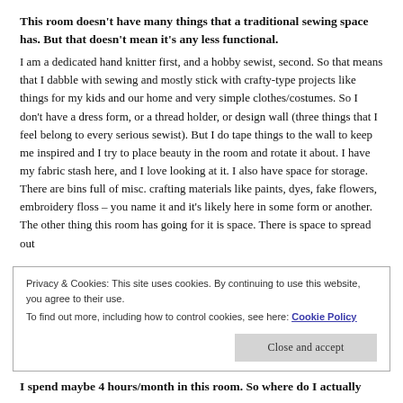This room doesn't have many things that a traditional sewing space has.  But that doesn't mean it's any less functional.
I am a dedicated hand knitter first, and a hobby sewist, second.  So that means that I dabble with sewing and mostly stick with crafty-type projects like things for my kids and our home and very simple clothes/costumes.  So I don't have a dress form, or a thread holder, or design wall (three things that I feel belong to every serious sewist).  But I do tape things to the wall to keep me inspired and I try to place beauty in the room and rotate it about.  I have my fabric stash here, and I love looking at it.  I also have space for storage.  There are bins full of misc. crafting materials like paints, dyes, fake flowers, embroidery floss – you name it and it's likely here in some form or another.  The other thing this room has going for it is space.  There is space to spread out
Privacy & Cookies: This site uses cookies. By continuing to use this website, you agree to their use.
To find out more, including how to control cookies, see here: Cookie Policy
I spend maybe 4 hours/month in this room.  So where do I actually